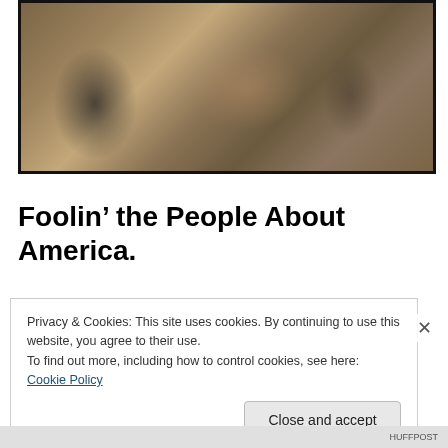[Figure (photo): A composite image showing a police officer figure overlaid on a dark classical painting of an interior scene with a figure on a bed/couch and various furniture]
Foolin’ the People About America.
Privacy & Cookies: This site uses cookies. By continuing to use this website, you agree to their use.
To find out more, including how to control cookies, see here: Cookie Policy
Close and accept